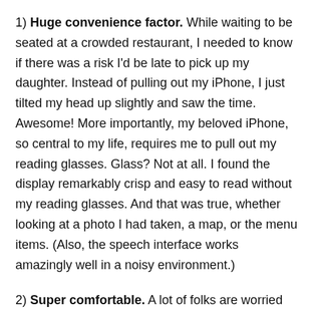1) Huge convenience factor. While waiting to be seated at a crowded restaurant, I needed to know if there was a risk I'd be late to pick up my daughter. Instead of pulling out my iPhone, I just tilted my head up slightly and saw the time. Awesome! More importantly, my beloved iPhone, so central to my life, requires me to pull out my reading glasses. Glass? Not at all. I found the display remarkably crisp and easy to read without my reading glasses. And that was true, whether looking at a photo I had taken, a map, or the menu items. (Also, the speech interface works amazingly well in a noisy environment.)
2) Super comfortable. A lot of folks are worried that a computer on your face would be heavy and awkward. In my testing, Glass was as comfortable as my reading glasses or a pair of sunglasses. Very well designed, even